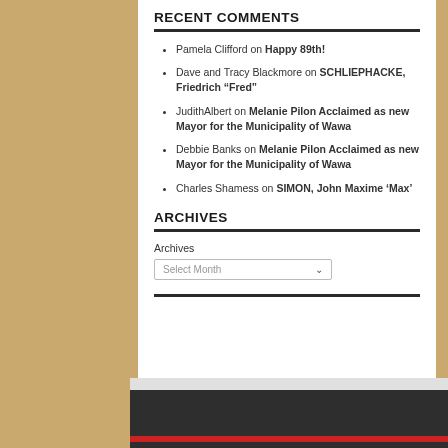RECENT COMMENTS
Pamela Clifford on Happy 89th!
Dave and Tracy Blackmore on SCHLIEPHACKE, Friedrich “Fred”
JudithAlbert on Melanie Pilon Acclaimed as new Mayor for the Municipality of Wawa
Debbie Banks on Melanie Pilon Acclaimed as new Mayor for the Municipality of Wawa
Charles Shamess on SIMON, John Maxime ‘Max’
ARCHIVES
Archives
Select Month